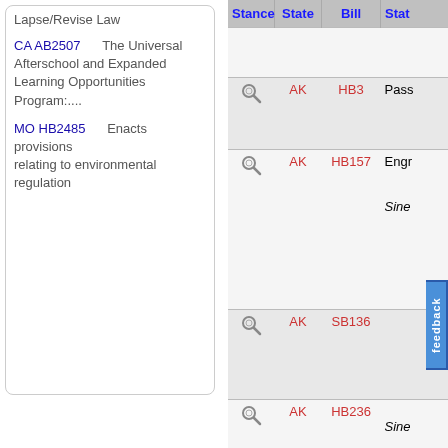Lapse/Revise Law
CA AB2507 The Universal Afterschool and Expanded Learning Opportunities Program:...
MO HB2485 Enacts provisions relating to environmental regulation
| Stance | State | Bill | Stat... |
| --- | --- | --- | --- |
| [icon] | AK | HB3 | Pass... |
| [icon] | AK | HB157 | Engr...
Sine... |
| [icon] | AK | SB136 |  |
| [icon] | AK | HB236 | ...
Sine... |